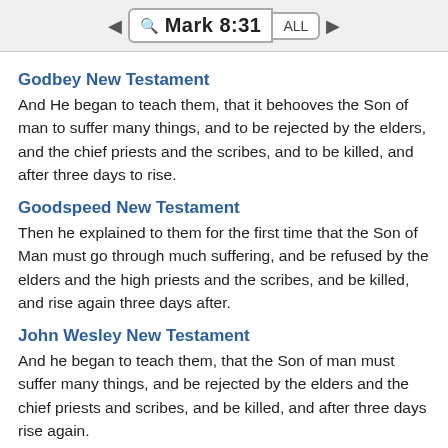Mark 8:31
Godbey New Testament
And He began to teach them, that it behooves the Son of man to suffer many things, and to be rejected by the elders, and the chief priests and the scribes, and to be killed, and after three days to rise.
Goodspeed New Testament
Then he explained to them for the first time that the Son of Man must go through much suffering, and be refused by the elders and the high priests and the scribes, and be killed, and rise again three days after.
John Wesley New Testament
And he began to teach them, that the Son of man must suffer many things, and be rejected by the elders and the chief priests and scribes, and be killed, and after three days rise again.
Julia Smith Translation